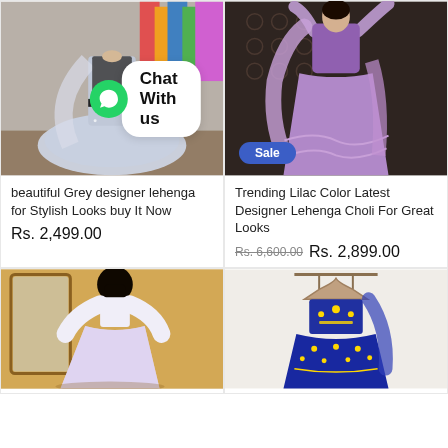[Figure (photo): Grey embroidered designer lehenga on mannequin in store with colorful garments in background]
[Figure (photo): Lilac/purple designer lehenga choli worn by model with Sale badge]
beautiful Grey designer lehenga for Stylish Looks buy It Now
Rs. 2,499.00
Trending Lilac Color Latest Designer Lehenga Choli For Great Looks
Rs. 6,600.00 Rs. 2,899.00
[Figure (photo): Woman wearing white/lilac lehenga viewed from behind in store setting]
[Figure (photo): Blue and gold embroidered lehenga choli on hanger against white wall]